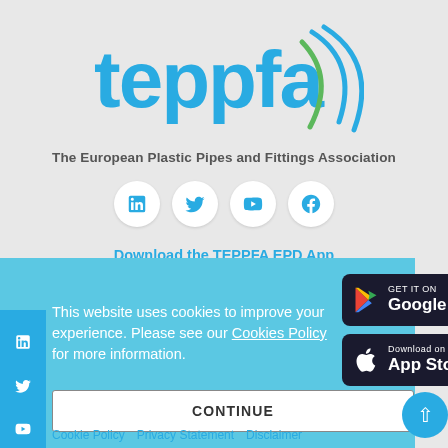[Figure (logo): TEPPFA logo with teal 'teppfa' text and decorative arc lines in blue and green]
The European Plastic Pipes and Fittings Association
[Figure (infographic): Row of four social media icon buttons (LinkedIn, Twitter/X, YouTube, Facebook) in white circles]
Download the TEPPFA EPD App on your tablet
This website uses cookies to improve your experience. Please see our Cookies Policy for more information.
[Figure (screenshot): Google Play store download button]
[Figure (screenshot): Apple App Store download button]
CONTINUE
Cookie Policy   Privacy Statement   Disclaimer